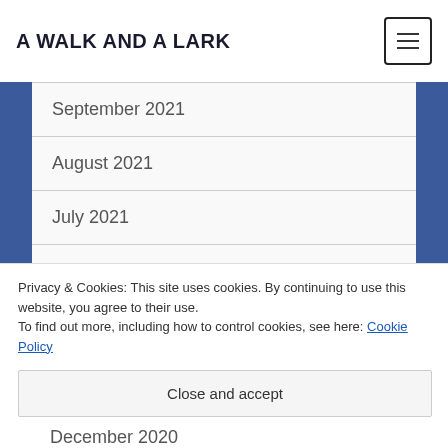A WALK AND A LARK
September 2021
August 2021
July 2021
June 2021
May 2021
April 2021
March 2021 (partially visible)
Privacy & Cookies: This site uses cookies. By continuing to use this website, you agree to their use.
To find out more, including how to control cookies, see here: Cookie Policy
Close and accept
December 2020